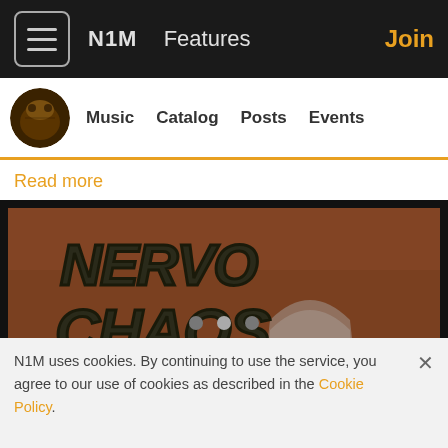N1M   Features   Join
[Figure (screenshot): Sub-navigation bar with circular avatar/logo, and links: Music, Catalog, Posts, Events]
Read more
[Figure (photo): Nervo Chaos band logo on a stone/earthy background with 'I hate' text visible on a gravestone. Facebook and Twitter social share buttons overlaid on the right side.]
N1M uses cookies. By continuing to use the service, you agree to our use of cookies as described in the Cookie Policy.